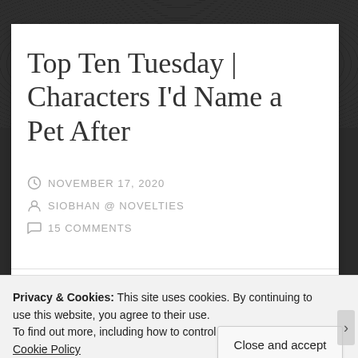Top Ten Tuesday | Characters I'd Name a Pet After
NOVEMBER 17, 2020
SIOBHAN @ NOVELTIES
15 COMMENTS
Privacy & Cookies: This site uses cookies. By continuing to use this website, you agree to their use.
To find out more, including how to control cookies, see here: Cookie Policy
Close and accept